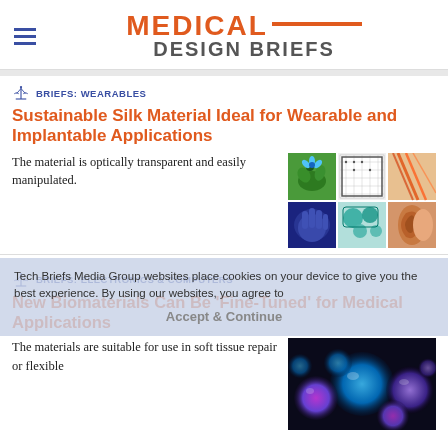MEDICAL DESIGN BRIEFS
BRIEFS: WEARABLES
Sustainable Silk Material Ideal for Wearable and Implantable Applications
The material is optically transparent and easily manipulated.
[Figure (photo): Grid of six medical/biotech images including flowers, circuit boards, gloved hands, ear, and other biomedical materials]
Tech Briefs Media Group websites place cookies on your device to give you the best experience. By using our websites, you agree to
BRIEFS: ELECTRONICS & COMPUTERS
New Biomaterials Can Be 'Fine-Tuned' for Medical Applications
The materials are suitable for use in soft tissue repair or flexible
[Figure (photo): Close-up of glowing blue/purple spherical biomaterial bubbles]
Accept & Continue